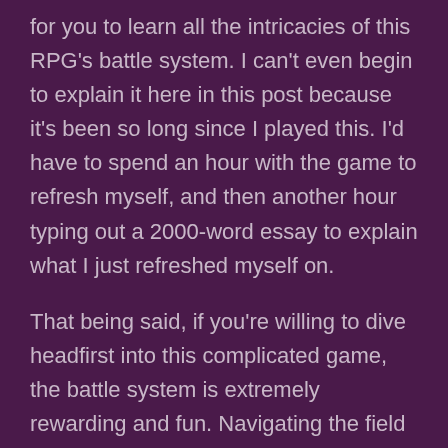for you to learn all the intricacies of this RPG's battle system. I can't even begin to explain it here in this post because it's been so long since I played this. I'd have to spend an hour with the game to refresh myself, and then another hour typing out a 2000-word essay to explain what I just refreshed myself on.

That being said, if you're willing to dive headfirst into this complicated game, the battle system is extremely rewarding and fun. Navigating the field doing flips and tricks with all your guns is one of the most rewarding RPG mechanics I've ever experienced once you start pulling off insane combos. If you're one of those people that thinks turn-based = slow, Resonance of Fate